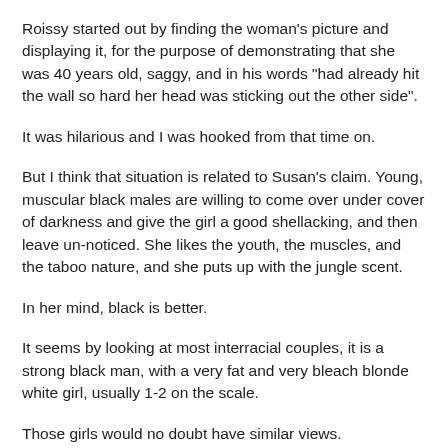Roissy started out by finding the woman's picture and displaying it, for the purpose of demonstrating that she was 40 years old, saggy, and in his words "had already hit the wall so hard her head was sticking out the other side".
It was hilarious and I was hooked from that time on.
But I think that situation is related to Susan's claim. Young, muscular black males are willing to come over under cover of darkness and give the girl a good shellacking, and then leave un-noticed. She likes the youth, the muscles, and the taboo nature, and she puts up with the jungle scent.
In her mind, black is better.
It seems by looking at most interracial couples, it is a strong black man, with a very fat and very bleach blonde white girl, usually 1-2 on the scale.
Those girls would no doubt have similar views.
I always liked Catherine Zeta Jones, but I tell my wife I